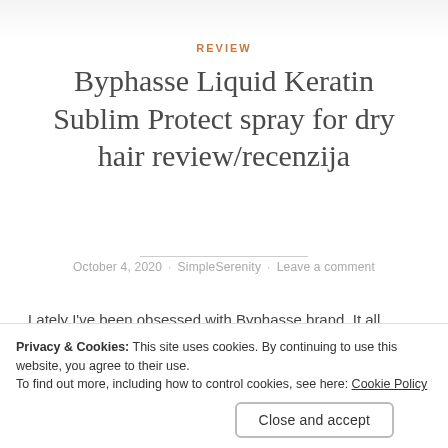REVIEW
Byphasse Liquid Keratin Sublim Protect spray for dry hair review/recenzija
October 4, 2020 · SimpleSerenity · Leave a comment
Lately I've been obsessed with Byphasse brand. It all started when I bought their rose water toner. Literally that is one of the nicest toners I ever had, so I got really
Privacy & Cookies: This site uses cookies. By continuing to use this website, you agree to their use.
To find out more, including how to control cookies, see here: Cookie Policy
Close and accept